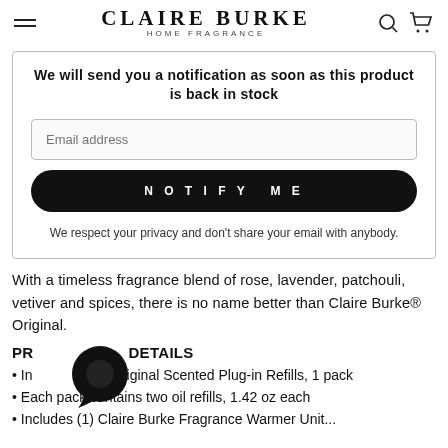CLAIRE BURKE HOME FRAGRANCE
We will send you a notification as soon as this product is back in stock
Email address
NOTIFY ME
We respect your privacy and don't share your email with anybody.
With a timeless fragrance blend of rose, lavender, patchouli, vetiver and spices, there is no name better than Claire Burke® Original.
PRODUCT DETAILS
• Includes Original Scented Plug-in Refills, 1 pack
• Each pack contains two oil refills, 1.42 oz each
• Includes (1) Claire Burke Fragrance Warmer Unit...